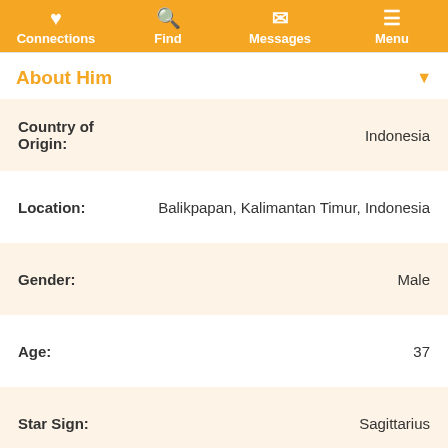Connections | Find | Messages | Menu
About Him
| Field | Value |
| --- | --- |
| Country of Origin: | Indonesia |
| Location: | Balikpapan, Kalimantan Timur, Indonesia |
| Gender: | Male |
| Age: | 37 |
| Star Sign: | Sagittarius |
| Height: | 166cm (5' 5.4") |